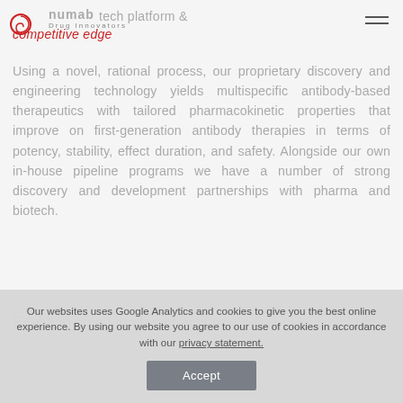numab Drug Innovators — tech platform & competitive edge
Using a novel, rational process, our proprietary discovery and engineering technology yields multispecific antibody-based therapeutics with tailored pharmacokinetic properties that improve on first-generation antibody therapies in terms of potency, stability, effect duration, and safety. Alongside our own in-house pipeline programs we have a number of strong discovery and development partnerships with pharma and biotech.
Enabling novel modes of action
Our websites uses Google Analytics and cookies to give you the best online experience. By using our website you agree to our use of cookies in accordance with our privacy statement.